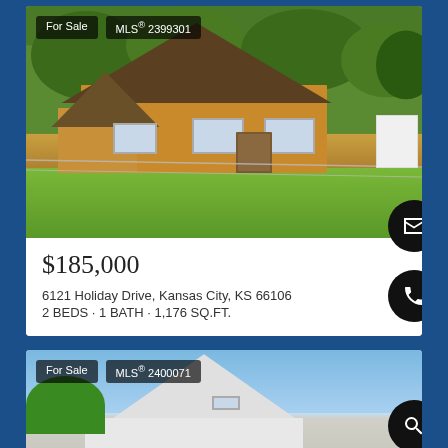[Figure (photo): Exterior photo of a brick/stone house with brown roof, chain-link fence, and green lawn. Badges: 'For Sale' and 'MLS® 2399301']
$185,000
6121 Holiday Drive, Kansas City, KS 66106
2 BEDS · 1 BATH · 1,176 SQ.FT.
[Figure (photo): Exterior photo of a white house with peaked roof and blue sky. Badges: 'For Sale' and 'MLS® 2400071']